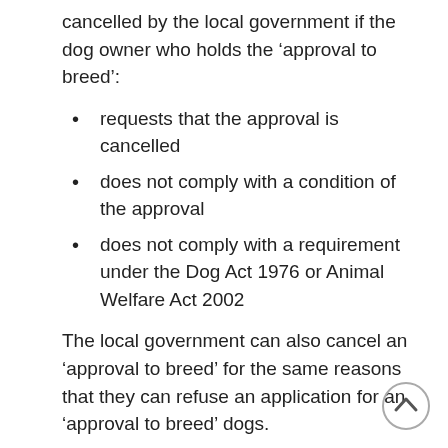cancelled by the local government if the dog owner who holds the ‘approval to breed’:
requests that the approval is cancelled
does not comply with a condition of the approval
does not comply with a requirement under the Dog Act 1976 or Animal Welfare Act 2002
The local government can also cancel an ‘approval to breed’ for the same reasons that they can refuse an application for an ‘approval to breed’ dogs.
For many professional breeders who are registered with their own organisations the